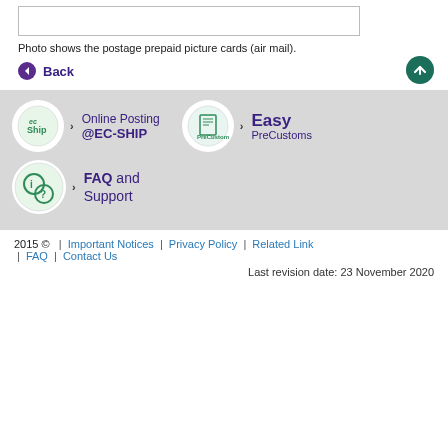[Figure (other): Empty image box with border representing postage prepaid picture cards]
Photo shows the postage prepaid picture cards (air mail).
Back
[Figure (infographic): Online Posting @EC-SHIP logo with ec-ship circle icon and arrow]
[Figure (infographic): Easy PreCustoms logo with EasyPreCustoms circle icon and arrow]
[Figure (infographic): FAQ and Support logo with FAQ circle icon and arrow]
2015 © | Important Notices | Privacy Policy | Related Link | FAQ | Contact Us
Last revision date: 23 November 2020